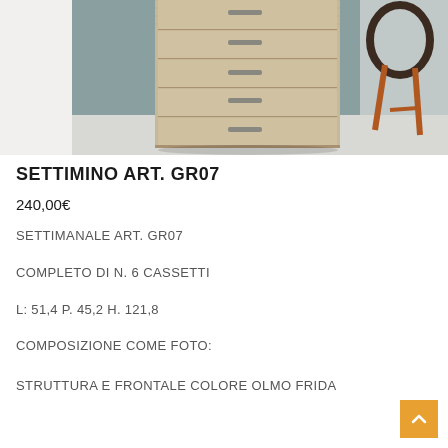[Figure (photo): Product photo of a tall narrow wooden chest of drawers (settimino) with 6 drawers in light elm/oak color, with metal handles, shown against a grey/teal background with a decorative chair partially visible on the right]
SETTIMINO ART. GR07
240,00€
SETTIMANALE ART. GR07
COMPLETO DI N. 6 CASSETTI
L: 51,4 P. 45,2 H. 121,8
COMPOSIZIONE COME FOTO:
STRUTTURA E FRONTALE COLORE OLMO FRIDA